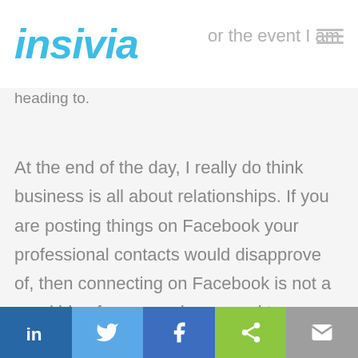insivia
heading to.
At the end of the day, I really do think business is all about relationships. If you are posting things on Facebook your professional contacts would disapprove of, then connecting on Facebook is not a good idea for you and you need to re-think what you are publicizing. I am okay with
LinkedIn | Twitter | Facebook | Share | Email